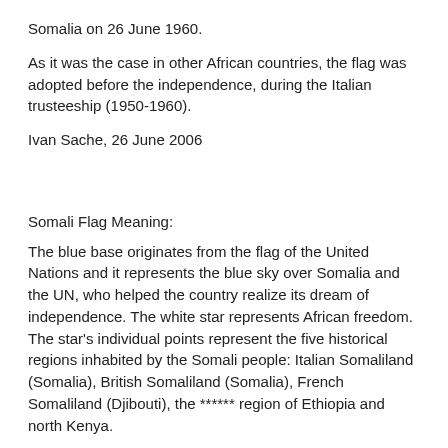Somalia on 26 June 1960.
As it was the case in other African countries, the flag was adopted before the independence, during the Italian trusteeship (1950-1960).
Ivan Sache, 26 June 2006
Somali Flag Meaning:
The blue base originates from the flag of the United Nations and it represents the blue sky over Somalia and the UN, who helped the country realize its dream of independence. The white star represents African freedom. The star's individual points represent the five historical regions inhabited by the Somali people: Italian Somaliland (Somalia), British Somaliland (Somalia), French Somaliland (Djibouti), the ****** region of Ethiopia and north Kenya.